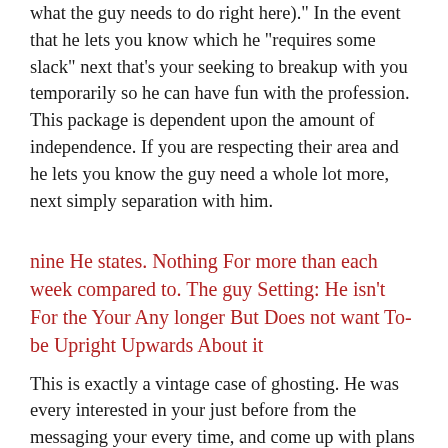what the guy needs to do right here). In the event that he lets you know which he "requires some slack" next that's your seeking to breakup with you temporarily so he can have fun with the profession. This package is dependent upon the amount of independence. If you are respecting their area and he lets you know the guy need a whole lot more, next simply separation with him.
nine He states. Nothing For more than each week compared to. The guy Setting: He isn't For the Your Any longer But Does not want To-be Upright Upwards About it
This is exactly a vintage case of ghosting. He was every interested in your just before from the messaging your every time, and come up with plans and taking place constant dates. Now all of a sudden it has got visited an